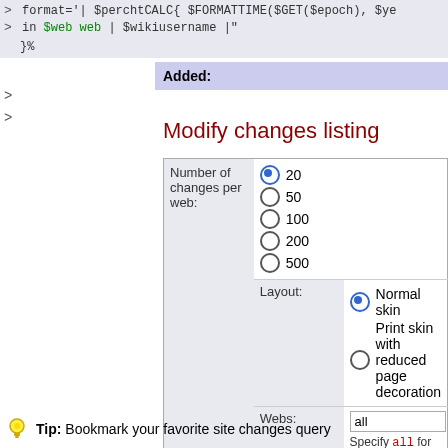> format='| $perchtCALC{ $FORMATTIME($GET($epoch), $ye
> in $web web | $wikiusername |"
}%
Added:
Modify changes listing
|  |  |
| --- | --- |
| Number of changes per web: | ● 20
○ 50
○ 100
○ 200
○ 500 |
| Layout: | ● Normal skin
○ Print skin with reduced page decoration |
| Webs: | all
Specify all for all webs, or a comma separated lis |
|  | View Changes |
💡 Tip: Bookmark your favorite site changes query